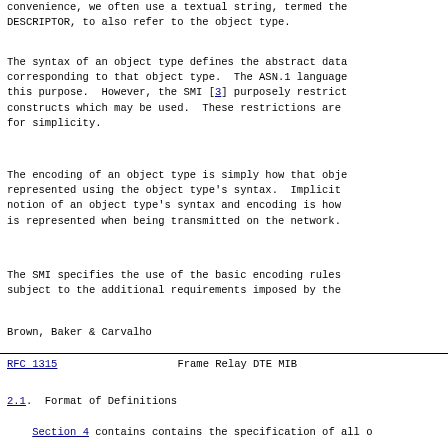convenience, we often use a textual string, termed the DESCRIPTOR, to also refer to the object type.
The syntax of an object type defines the abstract data corresponding to that object type.  The ASN.1 language this purpose.  However, the SMI [3] purposely restrict constructs which may be used.  These restrictions are for simplicity.
The encoding of an object type is simply how that obje represented using the object type's syntax.  Implicit notion of an object type's syntax and encoding is how is represented when being transmitted on the network.
The SMI specifies the use of the basic encoding rules subject to the additional requirements imposed by the
Brown, Baker & Carvalho
RFC 1315                    Frame Relay DTE MIB
2.1.  Format of Definitions
Section 4 contains contains the specification of all c